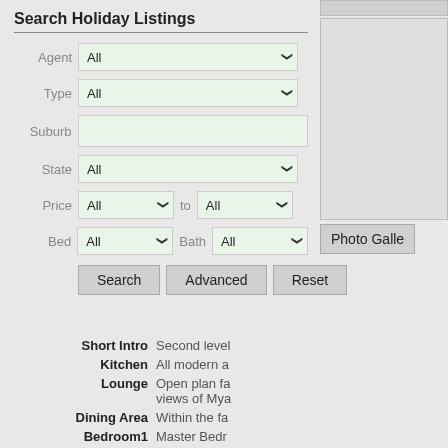Search Holiday Listings
Agent: All | Type: All | Suburb: | State: All | Price: All to All | Bed: All Bath: All
Search | Advanced | Reset
[Figure (screenshot): Gray box at top right]
[Figure (screenshot): Light gray empty box in right panel]
Photo Galle...
Short Intro: Second level...
Kitchen: All modern a...
Lounge: Open plan fa... views of Mya...
Dining Area: Within the fa...
Bedroom1: Master Bedr...